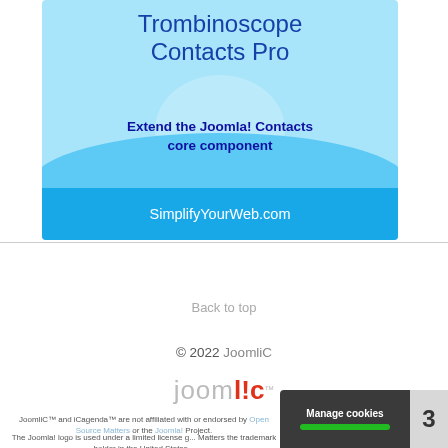[Figure (illustration): Trombinoscope Contacts Pro banner with light blue background, title text, 'Extend the Joomla! Contacts core component', and 'SimplifyYourWeb.com' in footer strip]
Back to top
© 2022 JoomliC
[Figure (logo): JoomliC logo in grey and red lettering]
JoomliC™ and iCagenda™ are not affiliated with or endorsed by Open Source Matters or the Joomla! Project.
The Joomla! logo is used under a limited license gr... Matters the trademark holder in the United States...
[Figure (screenshot): Manage cookies bar with green progress bar and page number 3]